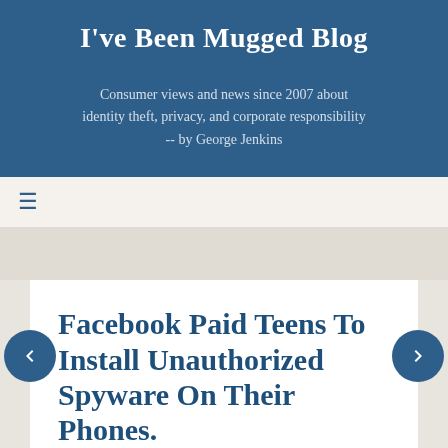I've Been Mugged Blog
Consumer views and news since 2007 about identity theft, privacy, and corporate responsibility -- by George Jenkins
[Figure (other): Hamburger menu icon (three horizontal lines) in blue, used as a navigation toggle]
Facebook Paid Teens To Install Unauthorized Spyware On Their Phones.